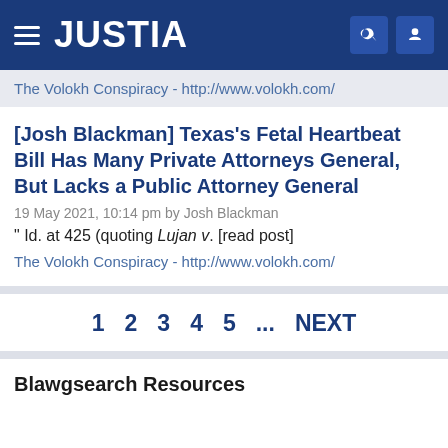JUSTIA
The Volokh Conspiracy - http://www.volokh.com/
[Josh Blackman] Texas's Fetal Heartbeat Bill Has Many Private Attorneys General, But Lacks a Public Attorney General
19 May 2021, 10:14 pm by Josh Blackman
" Id. at 425 (quoting Lujan v. [read post]
The Volokh Conspiracy - http://www.volokh.com/
1  2  3  4  5  ...  NEXT
Blawgsearch Resources